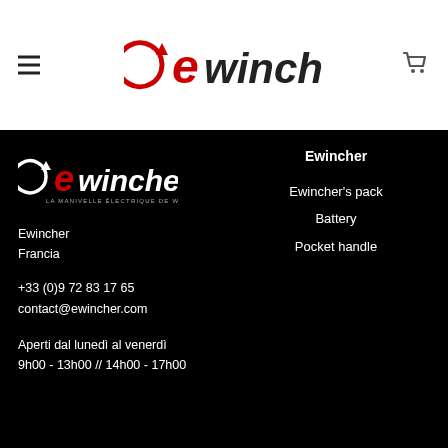ewincher logo header with hamburger menu and cart icon
[Figure (logo): Ewincher logo in footer - white text with red 'e' and circular arrow, tagline LA MANIVELLE ÉLECTRIQUE DE WINCH]
Ewincher
Francia
+33 (0)9 72 83 17 65
contact@ewincher.com
Aperti dal lunedì al venerdì
9h00 - 13h00 // 14h00 - 17h00
Ewincher
Ewincher's pack
Battery
Pocket handle